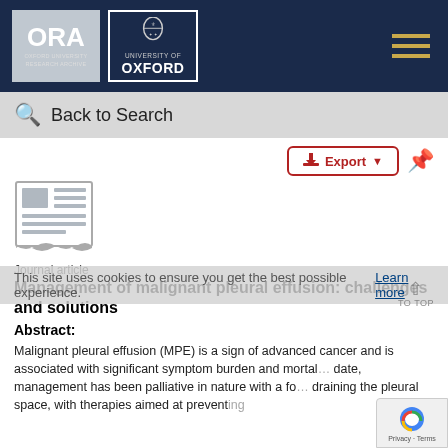[Figure (logo): Oxford University Research Archive (ORA) header with Oxford University logos on dark navy background]
Back to Search
Export
[Figure (illustration): Journal article document icon]
Journal article
Management of malignant pleural effusion: challenges and solutions
Abstract:
Malignant pleural effusion (MPE) is a sign of advanced cancer and is associated with significant symptom burden and mortal… date, management has been palliative in nature with a fo… draining the pleural space, with therapies aimed at preventing